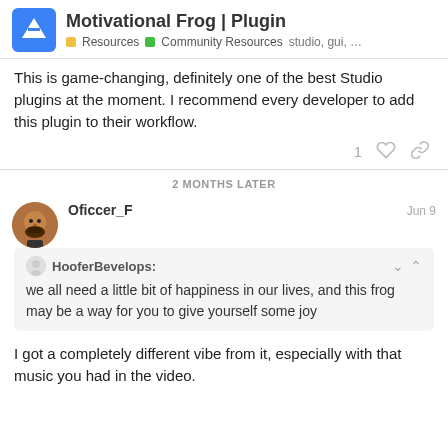Motivational Frog | Plugin — Resources, Community Resources, studio, gui, ...
This is game-changing, definitely one of the best Studio plugins at the moment. I recommend every developer to add this plugin to their workflow.
2 MONTHS LATER
Oficcer_F — Jun 9
HooferBevelops: we all need a little bit of happiness in our lives, and this frog may be a way for you to give yourself some joy
I got a completely different vibe from it, especially with that music you had in the video.